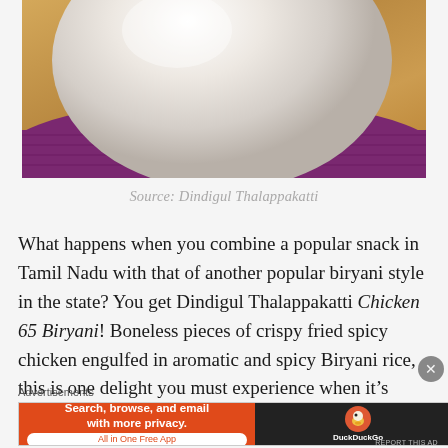[Figure (photo): White bowl on purple cloth on wooden surface, cropped to show bottom of bowl and cloth texture]
Source: Dindigul Thalappakatti
What happens when you combine a popular snack in Tamil Nadu with that of another popular biryani style in the state? You get Dindigul Thalappakatti Chicken 65 Biryani! Boneless pieces of crispy fried spicy chicken engulfed in aromatic and spicy Biryani rice, this is one delight you must experience when it's piping hot and I promise, you will no
Advertisements
[Figure (screenshot): DuckDuckGo advertisement banner: Search, browse, and email with more privacy. All in One Free App. Orange left panel and dark right panel with DuckDuckGo duck logo.]